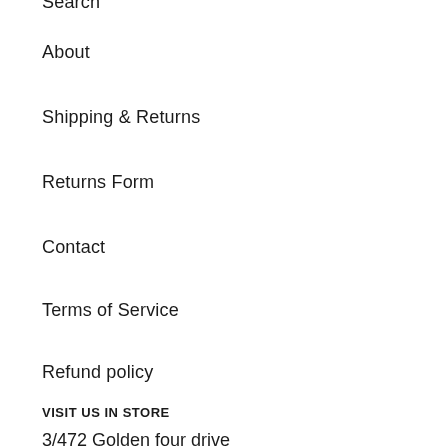Search
About
Shipping & Returns
Returns Form
Contact
Terms of Service
Refund policy
VISIT US IN STORE
3/472 Golden four drive